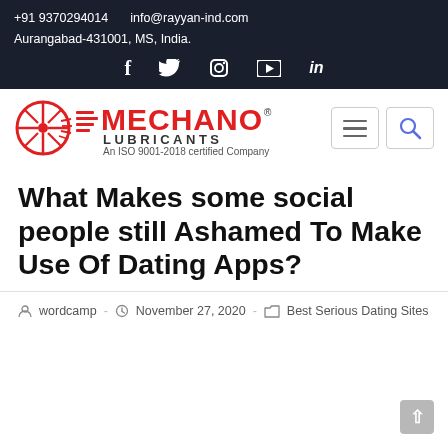+91 9370294014   info@rayyan-ind.com
Aurangabad-431001, MS, India.
[Figure (logo): Mechano Lubricants logo with wheel graphic, red brand name MECHANO, tagline LUBRICANTS and An ISO 9001-2018 certified Company]
What Makes some social people still Ashamed To Make Use Of Dating Apps?
wordcamp - November 27, 2020 - Best Serious Dating Sites